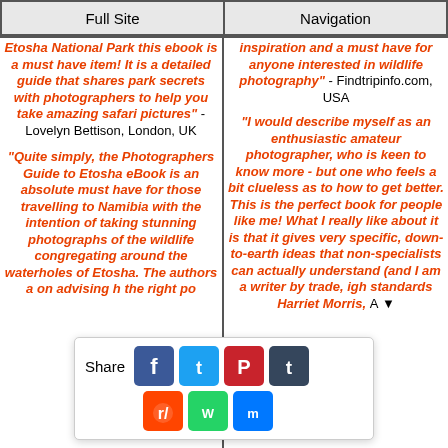Full Site | Navigation
Etosha National Park this ebook is a must have item! It is a detailed guide that shares park secrets with photographers to help you take amazing safari pictures" - Lovelyn Bettison, London, UK
"Quite simply, the Photographers Guide to Etosha eBook is an absolute must have for those travelling to Namibia with the intention of taking stunning photographs of the wildlife congregating around the waterholes of Etosha. The authors a... on advising h... the right po...
inspiration and a must have for anyone interested in wildlife photography" - Findtripinfo.com, USA
"I would describe myself as an enthusiastic amateur photographer, who is keen to know more - but one who feels a bit clueless as to how to get better. This is the perfect book for people like me! What I really like about it is that it gives very specific, down-to-earth ideas that non-specialists can actually understand (and I am a writer by trade, ... high standards Harriet Morris, ... A
[Figure (infographic): Share bar with social media icons: Facebook (blue), Twitter (blue), Pinterest (red/dark red), Tumblr (dark blue), Reddit (orange), WhatsApp (green), Messenger (blue)]